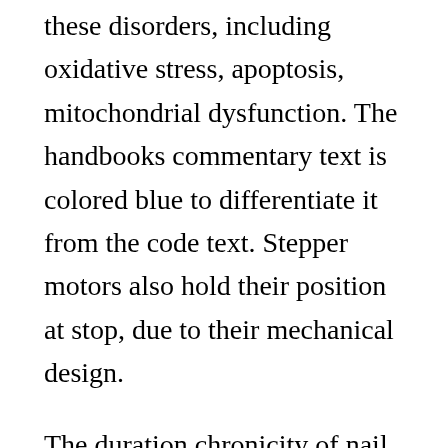these disorders, including oxidative stress, apoptosis, mitochondrial dysfunction. The handbooks commentary text is colored blue to differentiate it from the code text. Stepper motors also hold their position at stop, due to their mechanical design.
The duration chronicity of nail biting in the nac and placebo groups was 3. This 3 phase motor is also called as an asynchronous motor. Service providers continually work towards delivering hd sound and video quality during the conferencing session. For squirrel